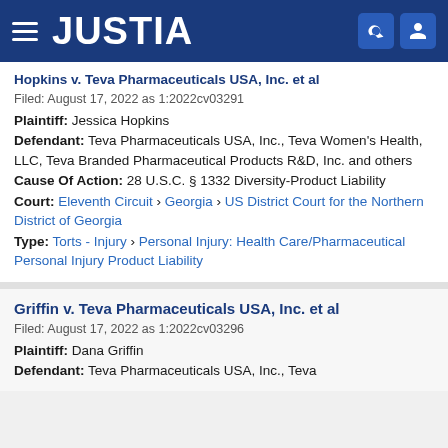JUSTIA
Hopkins v. Teva Pharmaceuticals USA, Inc. et al
Filed: August 17, 2022 as 1:2022cv03291
Plaintiff: Jessica Hopkins
Defendant: Teva Pharmaceuticals USA, Inc., Teva Women's Health, LLC, Teva Branded Pharmaceutical Products R&D, Inc. and others
Cause Of Action: 28 U.S.C. § 1332 Diversity-Product Liability
Court: Eleventh Circuit › Georgia › US District Court for the Northern District of Georgia
Type: Torts - Injury › Personal Injury: Health Care/Pharmaceutical Personal Injury Product Liability
Griffin v. Teva Pharmaceuticals USA, Inc. et al
Filed: August 17, 2022 as 1:2022cv03296
Plaintiff: Dana Griffin
Defendant: Teva Pharmaceuticals USA, Inc., Teva